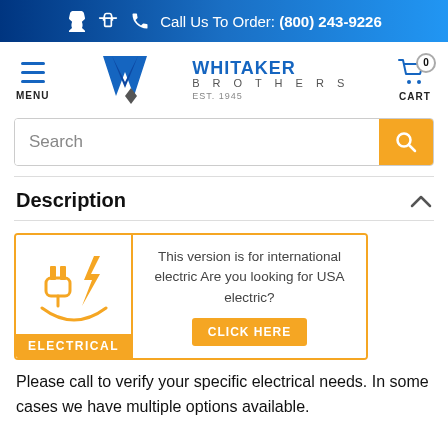Call Us To Order: (800) 243-9226
[Figure (logo): Whitaker Brothers logo with menu button and shopping cart]
Search
Description
[Figure (infographic): Electrical version warning box with orange border, plug and lightning bolt icon, text: This version is for international electric Are you looking for USA electric? CLICK HERE button]
Please call to verify your specific electrical needs. In some cases we have multiple options available.